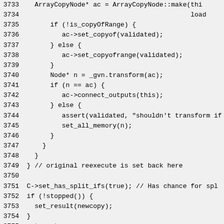Code listing lines 3733-3762, showing C++ source code for array copy and virtual guard generation logic.